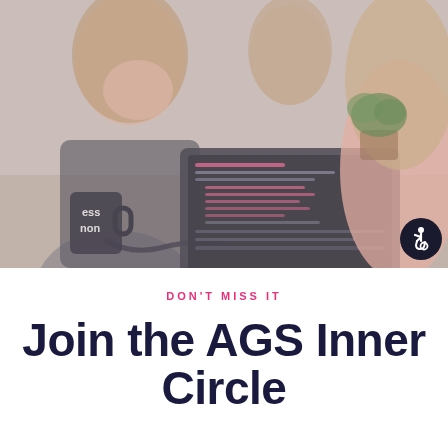[Figure (photo): Photo of two or three women working together at a desk with a laptop computer open, a mug labeled 'ess non' visible on the left, and a plant in the background. The image has a muted, faded color tone. An accessibility icon badge appears in the lower right of the image.]
DON'T MISS IT
Join the AGS Inner Circle